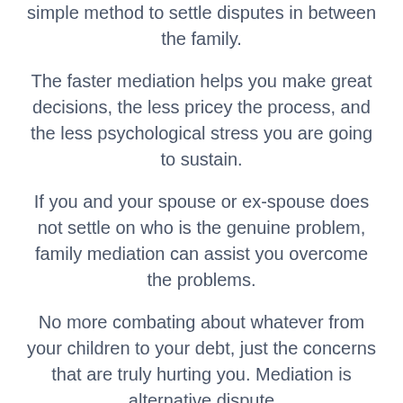simple method to settle disputes in between the family.
The faster mediation helps you make great decisions, the less pricey the process, and the less psychological stress you are going to sustain.
If you and your spouse or ex-spouse does not settle on who is the genuine problem, family mediation can assist you overcome the problems.
No more combating about whatever from your children to your debt, just the concerns that are truly hurting you. Mediation is alternative dispute